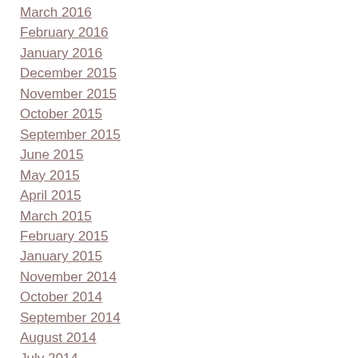March 2016
February 2016
January 2016
December 2015
November 2015
October 2015
September 2015
June 2015
May 2015
April 2015
March 2015
February 2015
January 2015
November 2014
October 2014
September 2014
August 2014
July 2014
June 2014